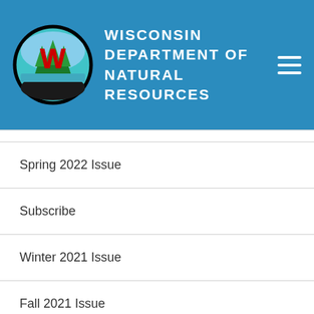Wisconsin Department of Natural Resources
Spring 2022 Issue
Subscribe
Winter 2021 Issue
Fall 2021 Issue
Summer 2021 Issue
Spring 2021 Issue